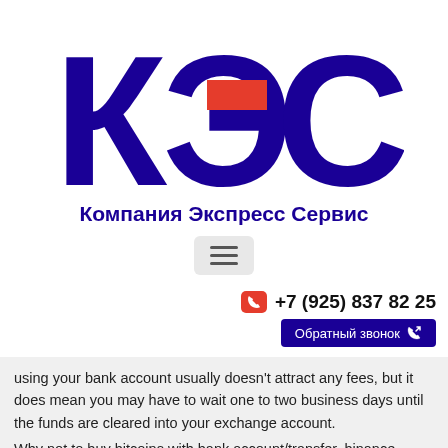[Figure (logo): КЭС logo with large Cyrillic letters К, Э, С in dark navy blue, with a red rectangle accent on the Э letter]
Компания Экспресс Сервис
[Figure (infographic): Hamburger menu button (three horizontal lines) in a rounded gray rectangle]
+7 (925) 837 82 25
Обратный звонок
using your bank account usually doesn't attract any fees, but it does mean you may have to wait one to two business days until the funds are cleared into your exchange account.
Why not to buy bitcoins with bank account/transfer, binance